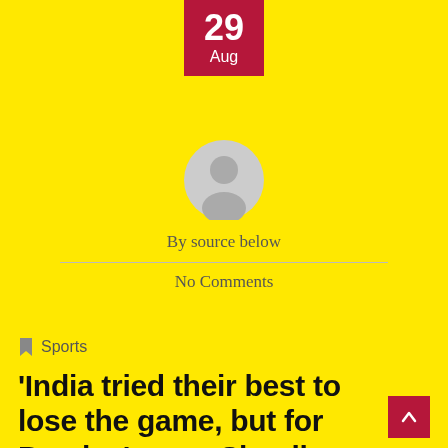29 Aug
[Figure (illustration): Generic user avatar circle icon in grey]
By source below
No Comments
Sports
‘India tried their best to lose the game, but for Pandya’, says Shoaib Akhtar